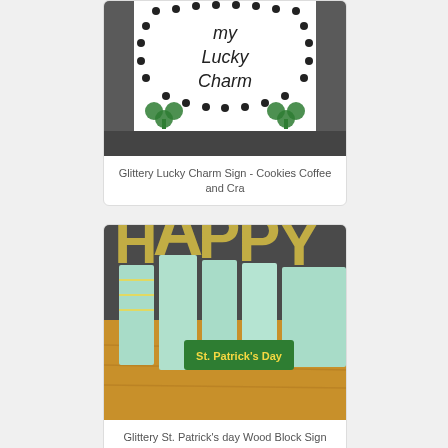[Figure (photo): Photo of a handmade white sign with text 'my Lucky Charm' written in black lettering, surrounded by black dot border design, with green glitter shamrocks on each lower corner.]
Glittery Lucky Charm Sign - Cookies Coffee and Cra
[Figure (photo): Photo of decorative wooden letter blocks spelling out 'HAPPY St. Patrick's Day' arranged on a wooden table surface. Blocks are decorated with mint green and yellow plaid/argyle patterns.]
Glittery St. Patrick's day Wood Block Sign